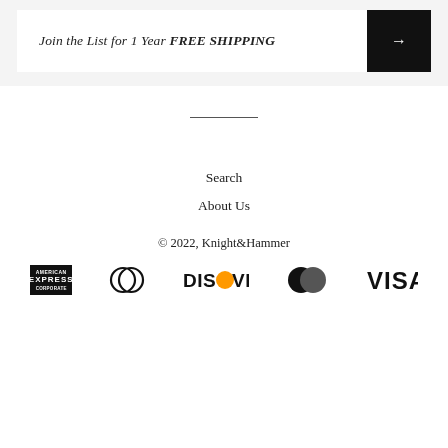Join the List for 1 Year FREE SHIPPING
Search
About Us
© 2022, Knight&Hammer
[Figure (logo): Payment method logos: American Express, Diners Club, Discover, MasterCard, Visa]